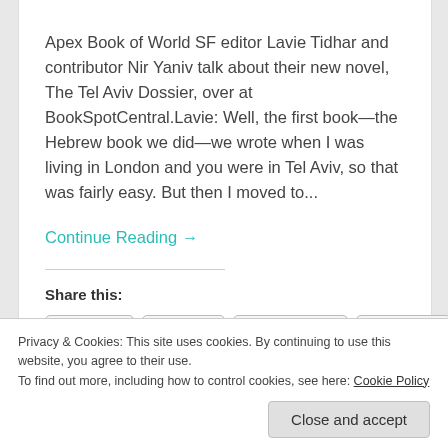Apex Book of World SF editor Lavie Tidhar and contributor Nir Yaniv talk about their new novel, The Tel Aviv Dossier, over at BookSpotCentral.Lavie: Well, the first book—the Hebrew book we did—we wrote when I was living in London and you were in Tel Aviv, so that was fairly easy. But then I moved to...
Continue Reading →
Share this:
Email  Print  Facebook  Reddit
Privacy & Cookies: This site uses cookies. By continuing to use this website, you agree to their use.
To find out more, including how to control cookies, see here: Cookie Policy
Close and accept